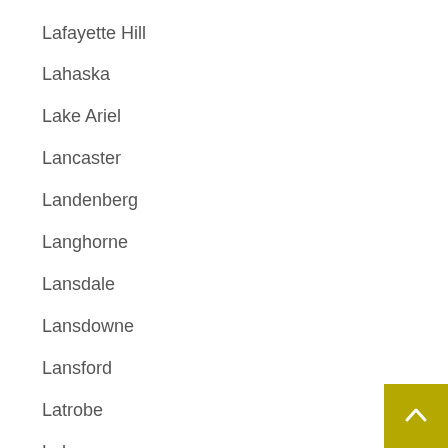Lafayette Hill
Lahaska
Lake Ariel
Lancaster
Landenberg
Langhorne
Lansdale
Lansdowne
Lansford
Latrobe
Lebanon